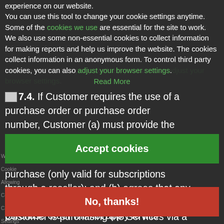experience on our website. You can use this tool to change your cookie settings anytime. Some of the cookies we use are essential for the site to work. We also use some non-essential cookies to collect information for making reports and help us improve the website. The cookies collect information in an anonymous form. To control third party cookies, you can also adjust your browser settings.
Read More
7.4. If Customer requires the use of a purchase order or purchase order number, Customer (a) must provide the purchase order number at the time of purchase (only valid for subscriptions through a reseller); and (b) agrees that any terms and conditions on a Customer purchase order will not apply to this Agreement, whether or not Customer is purchasing the Services via a
[Figure (other): Green 'Accept cookies' button overlay]
[Figure (other): Red 'No, thanks!' button overlay]